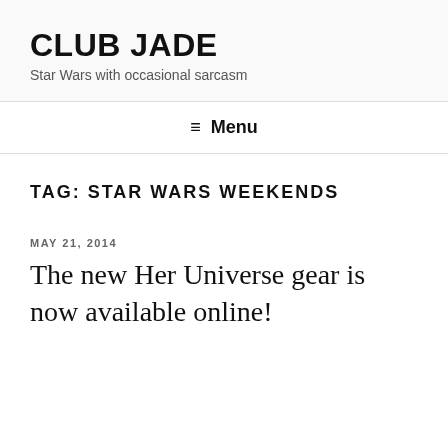CLUB JADE
Star Wars with occasional sarcasm
≡ Menu
TAG: STAR WARS WEEKENDS
MAY 21, 2014
The new Her Universe gear is now available online!